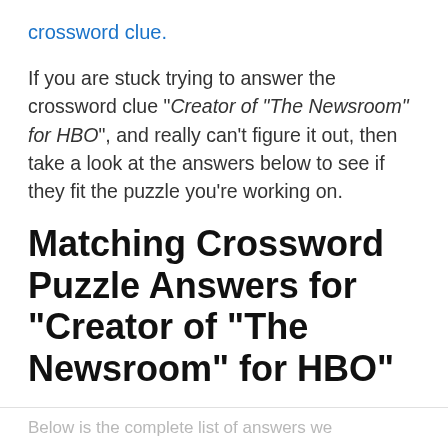crossword clue.
If you are stuck trying to answer the crossword clue "Creator of "The Newsroom" for HBO", and really can't figure it out, then take a look at the answers below to see if they fit the puzzle you're working on.
Matching Crossword Puzzle Answers for "Creator of "The Newsroom" for HBO"
Below is the complete list of answers we